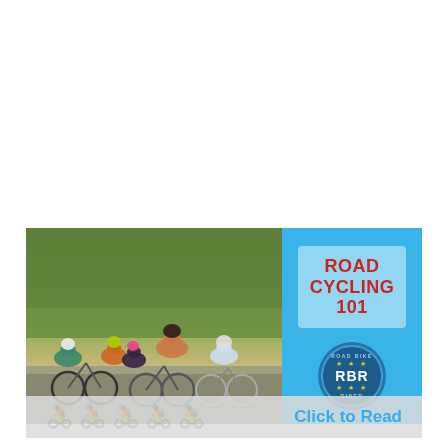[Figure (photo): A composite image showing road cyclists racing in a pack on a road with trees in the background (left section), and a light blue panel on the right with 'ROAD CYCLING 101' in red bold text inside a white-tinted box, and an RBR (Road Bike Rider) badge logo below. A semi-transparent bar at the bottom reads 'Click to Read'.]